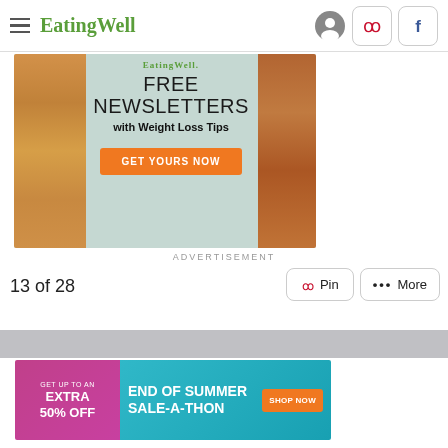EatingWell
[Figure (screenshot): EatingWell newsletter advertisement: FREE NEWSLETTERS with Weight Loss Tips — GET YOURS NOW button on orange background, food items on sides]
ADVERTISEMENT
13 of 28
[Figure (screenshot): Bottom banner ad: GET UP TO AN EXTRA 50% OFF (pink/magenta) | END OF SUMMER SALE-A-THON (teal) | SHOP NOW (orange button)]